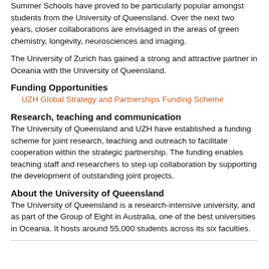Summer Schools have proved to be particularly popular amongst students from the University of Queensland. Over the next two years, closer collaborations are envisaged in the areas of green chemistry, longevity, neurosciences and imaging.
The University of Zurich has gained a strong and attractive partner in Oceania with the University of Queensland.
Funding Opportunities
UZH Global Strategy and Partnerships Funding Scheme
Research, teaching and communication
The University of Queensland and UZH have established a funding scheme for joint research, teaching and outreach to facilitate cooperation within the strategic partnership. The funding enables teaching staff and researchers to step up collaboration by supporting the development of outstanding joint projects.
About the University of Queensland
The University of Queensland is a research-intensive university, and as part of the Group of Eight in Australia, one of the best universities in Oceania. It hosts around 55,000 students across its six faculties.